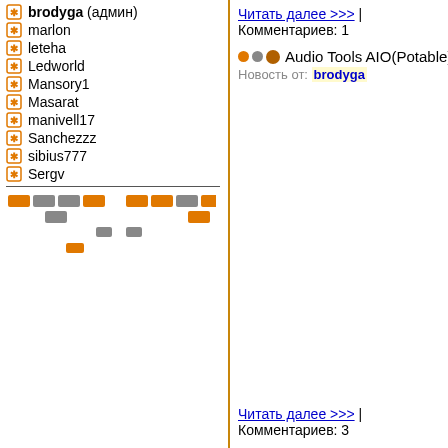brodyga (админ)
marlon
leteha
Ledworld
Mansory1
Masarat
manivell17
Sanchezzz
sibius777
Sergv
[Figure (other): Pagination control with orange and gray rectangle/dot elements arranged in rows]
Читать далее >>> | Комментариев: 1
Audio Tools AIO(Potable) - (by op
Новость от: brodyga
Читать далее >>> | Комментариев: 3